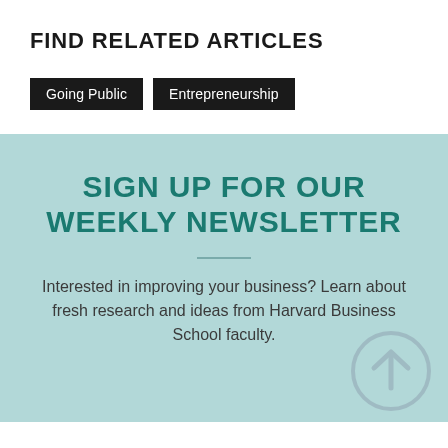FIND RELATED ARTICLES
Going Public
Entrepreneurship
SIGN UP FOR OUR WEEKLY NEWSLETTER
Interested in improving your business? Learn about fresh research and ideas from Harvard Business School faculty.